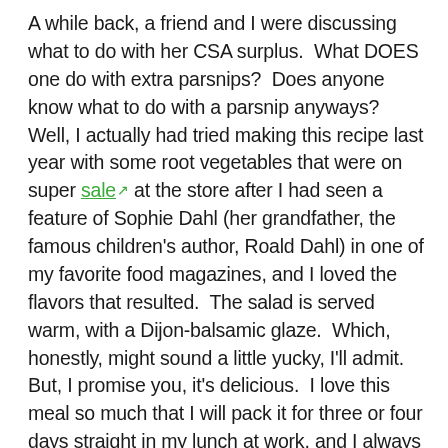A while back, a friend and I were discussing what to do with her CSA surplus.  What DOES one do with extra parsnips?  Does anyone know what to do with a parsnip anyways?  Well, I actually had tried making this recipe last year with some root vegetables that were on super sale at the store after I had seen a feature of Sophie Dahl (her grandfather, the famous children's author, Roald Dahl) in one of my favorite food magazines, and I loved the flavors that resulted.  The salad is served warm, with a Dijon-balsamic glaze.  Which, honestly, might sound a little yucky, I'll admit.  But, I promise you, it's delicious.  I love this meal so much that I will pack it for three or four days straight in my lunch at work, and I always look forward to heating some up (which is a rare thing for me, since I really don't like leftovers.....).  I decided to make it again a few weeks ago, and here is my